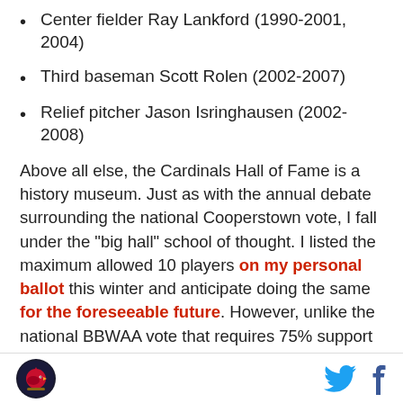Center fielder Ray Lankford (1990-2001, 2004)
Third baseman Scott Rolen (2002-2007)
Relief pitcher Jason Isringhausen (2002-2008)
Above all else, the Cardinals Hall of Fame is a history museum. Just as with the annual debate surrounding the national Cooperstown vote, I fall under the "big hall" school of thought. I listed the maximum allowed 10 players on my personal ballot this winter and anticipate doing the same for the foreseeable future. However, unlike the national BBWAA vote that requires 75% support for induction, the top two and only the top two vote-getters on the Cardinals ballot are enshrined regardless of percentages. While I believe the majority
Cardinals logo, Twitter, Facebook icons